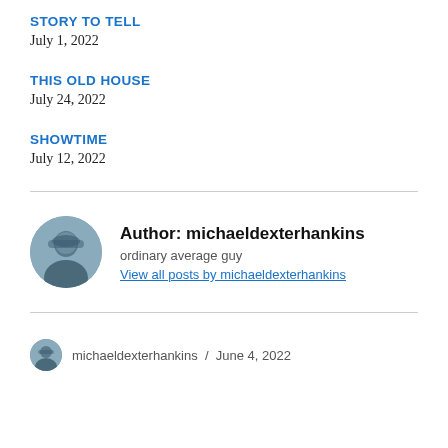STORY TO TELL
July 1, 2022
THIS OLD HOUSE
July 24, 2022
SHOWTIME
July 12, 2022
Author: michaeldexterhankins
ordinary average guy
View all posts by michaeldexterhankins
michaeldexterhankins / June 4, 2022